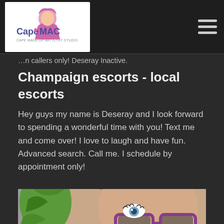[Figure (logo): Cape MAC logo — stylized woman silhouette with pink/purple hair, text 'Cape MAC' with tagline below]
Information callers only! Deseray Inactive.
Champaign escorts - local escorts
Hey guys my name is Deseray and I look forward to spending a wonderful time with you! Text me and come over! I love to laugh and have fun. Advanced search. Call me. I schedule by appointment only!
[Figure (photo): Photo of a woman with blonde/auburn hair wearing purple-rimmed glasses, with a green parrot on her left side near her face. Text 'Deseray' partially visible at bottom in large white letters.]